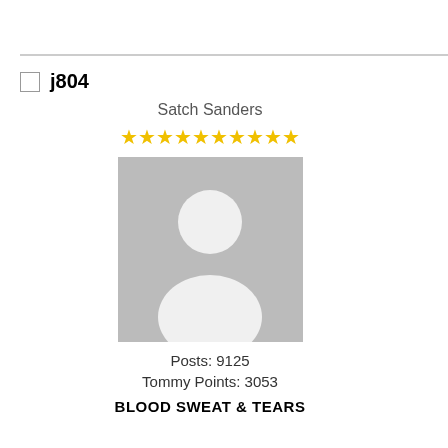j804
Satch Sanders
[Figure (illustration): Star rating: 10 gold stars]
[Figure (photo): Default user avatar silhouette on gray background]
Posts: 9125
Tommy Points: 3053
BLOOD SWEAT & TEARS
Quote from: Fafnir on June 06, 2012, 05:31:09 PM
Quote from: j804 on June 06, 2012 05:1 PM